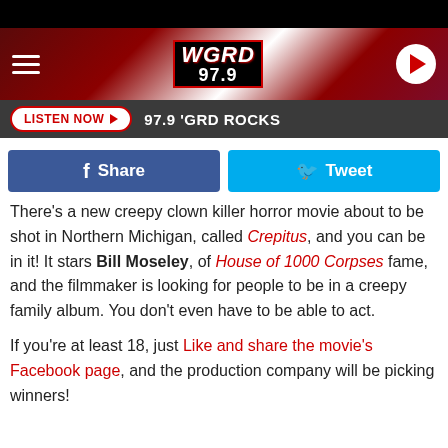[Figure (screenshot): WGRD 97.9 radio station website header with hamburger menu, logo, and play button on a dark red gradient background]
LISTEN NOW ▶  97.9 'GRD ROCKS
[Figure (infographic): Facebook Share button (blue) and Twitter Tweet button (light blue) side by side]
There's a new creepy clown killer horror movie about to be shot in Northern Michigan, called Crepitus, and you can be in it! It stars Bill Moseley, of House of 1000 Corpses fame, and the filmmaker is looking for people to be in a creepy family album. You don't even have to be able to act.
If you're at least 18, just Like and share the movie's Facebook page, and the production company will be picking winners!